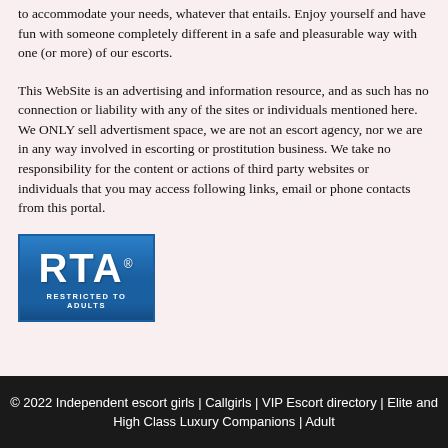to accommodate your needs, whatever that entails. Enjoy yourself and have fun with someone completely different in a safe and pleasurable way with one (or more) of our escorts.
This WebSite is an advertising and information resource, and as such has no connection or liability with any of the sites or individuals mentioned here. We ONLY sell advertisment space, we are not an escort agency, nor we are in any way involved in escorting or prostitution business. We take no responsibility for the content or actions of third party websites or individuals that you may access following links, email or phone contacts from this portal.
[Figure (logo): RTA Restricted to Adults logo — blue rectangular badge with 'RTA' in large white bold letters and 'RESTRICTED TO ADULTS' in small white caps below]
© 2022 Independent escort girls | Callgirls | VIP Escort directory | Elite and High Class Luxury Companions | Adult